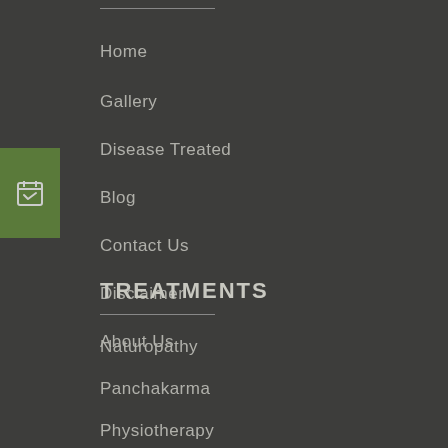Home
Gallery
Disease Treated
Blog
Contact Us
Disclaimer
About Us
TREATMENTS
Naturopathy
Panchakarma
Physiotherapy